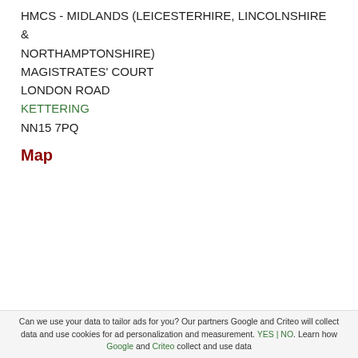HMCS - MIDLANDS (LEICESTERHIRE, LINCOLNSHIRE & NORTHAMPTONSHIRE)
MAGISTRATES' COURT
LONDON ROAD
KETTERING
NN15 7PQ
Map
Property Information
Can we use your data to tailor ads for you? Our partners Google and Criteo will collect data and use cookies for ad personalization and measurement. YES | NO. Learn how Google and Criteo collect and use data